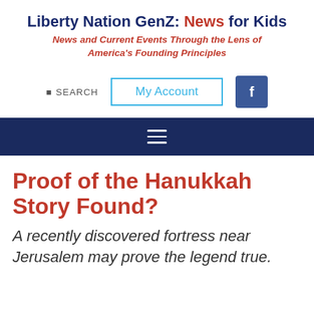Liberty Nation GenZ: News for Kids
News and Current Events Through the Lens of America's Founding Principles
SEARCH   My Account   f
Proof of the Hanukkah Story Found?
A recently discovered fortress near Jerusalem may prove the legend true.